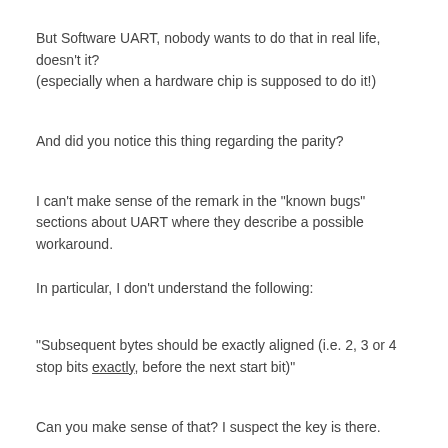But Software UART, nobody wants to do that in real life, doesn't it? (especially when a hardware chip is supposed to do it!)
And did you notice this thing regarding the parity?
I can't make sense of the remark in the "known bugs" sections about UART where they describe a possible workaround.

In particular, I don't understand the following:
"Subsequent bytes should be exactly aligned (i.e. 2, 3 or 4 stop bits exactly, before the next start bit)"
Can you make sense of that? I suspect the key is there.